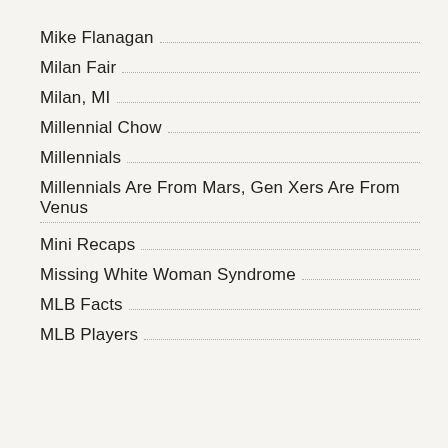Mike Flanagan
Milan Fair
Milan, MI
Millennial Chow
Millennials
Millennials Are From Mars, Gen Xers Are From Venus
Mini Recaps
Missing White Woman Syndrome
MLB Facts
MLB Players